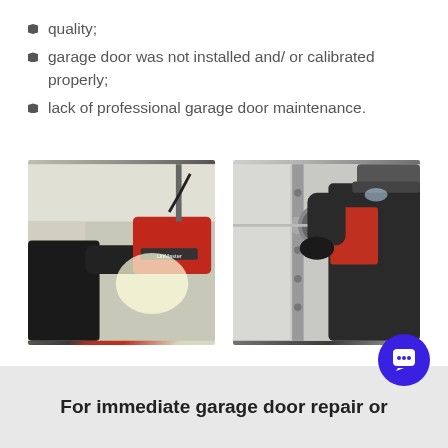quality;
garage door was not installed and/ or calibrated properly;
lack of professional garage door maintenance.
[Figure (photo): Technician working on a red LiftMaster garage door opener unit mounted on ceiling.]
[Figure (photo): Technician in black gloves and red jacket adjusting a garage door spring/cable mechanism.]
For immediate garage door repair or